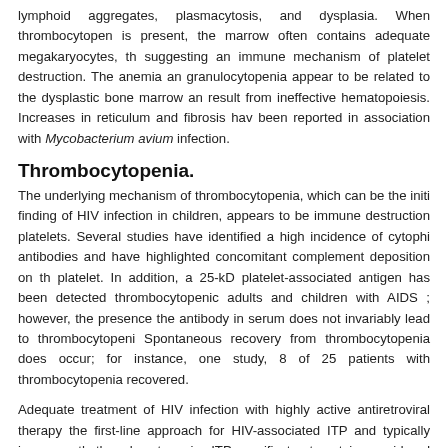lymphoid aggregates, plasmacytosis, and dysplasia. When thrombocytopenia is present, the marrow often contains adequate megakaryocytes, suggesting an immune mechanism of platelet destruction. The anemia and granulocytopenia appear to be related to the dysplastic bone marrow and result from ineffective hematopoiesis. Increases in reticulum and fibrosis have been reported in association with Mycobacterium avium infection.
Thrombocytopenia.
The underlying mechanism of thrombocytopenia, which can be the initial finding of HIV infection in children, appears to be immune destruction of platelets. Several studies have identified a high incidence of cytophilic antibodies and have highlighted concomitant complement deposition on the platelet. In addition, a 25-kD platelet-associated antigen has been detected in thrombocytopenic adults and children with AIDS ; however, the presence of the antibody in serum does not invariably lead to thrombocytopenia. Spontaneous recovery from thrombocytopenia does occur; for instance, in one study, 8 of 25 patients with thrombocytopenia recovered.
Adequate treatment of HIV infection with highly active antiretroviral therapy is the first-line approach for HIV-associated ITP and typically improves the thrombocytopenia. ITP-specific treatment is considered when the platelet count decreases to less than 30,000/mL or a clinical bleeding episode